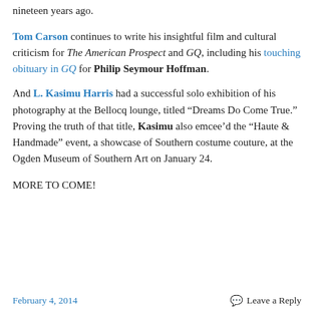nineteen years ago.
Tom Carson continues to write his insightful film and cultural criticism for The American Prospect and GQ, including his touching obituary in GQ for Philip Seymour Hoffman.
And L. Kasimu Harris had a successful solo exhibition of his photography at the Bellocq lounge, titled “Dreams Do Come True.” Proving the truth of that title, Kasimu also emcee’d the “Haute & Handmade” event, a showcase of Southern costume couture, at the Ogden Museum of Southern Art on January 24.
MORE TO COME!
February 4, 2014    Leave a Reply